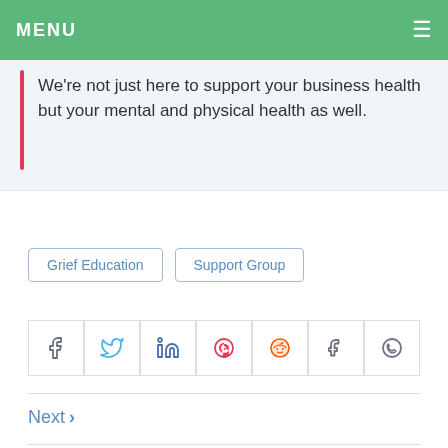MENU
We're not just here to support your business health but your mental and physical health as well.
Grief Education
Support Group
[Figure (infographic): Row of social media share icons: Facebook, Twitter, LinkedIn, Pinterest, Reddit, Tumblr, WhatsApp]
Next >